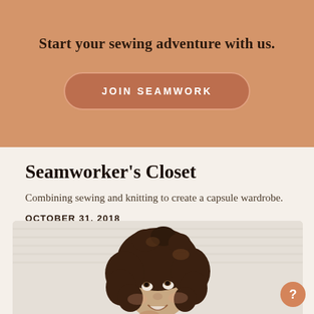Start your sewing adventure with us.
JOIN SEAMWORK
Seamworker’s Closet
Combining sewing and knitting to create a capsule wardrobe.
OCTOBER 31, 2018
[Figure (photo): A smiling woman with curly dark hair looking upward, wearing a sage green top, photographed against a light neutral background.]